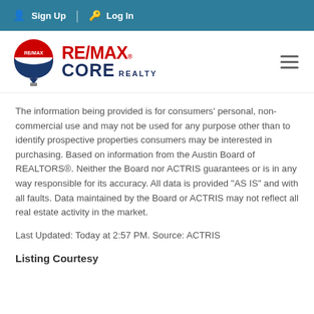Sign Up  Log In
[Figure (logo): RE/MAX CORE REALTY logo with hot air balloon icon in red, white and blue, and hamburger menu icon on right]
The information being provided is for consumers' personal, non-commercial use and may not be used for any purpose other than to identify prospective properties consumers may be interested in purchasing. Based on information from the Austin Board of REALTORS®. Neither the Board nor ACTRIS guarantees or is in any way responsible for its accuracy. All data is provided "AS IS" and with all faults. Data maintained by the Board or ACTRIS may not reflect all real estate activity in the market.
Last Updated: Today at 2:57 PM. Source: ACTRIS
Listing Courtesy